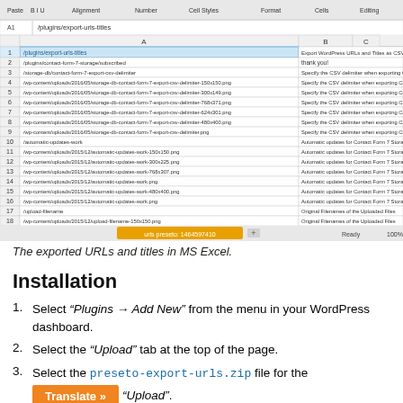[Figure (screenshot): Screenshot of Microsoft Excel spreadsheet showing exported URLs and titles in two columns (A and B). Column A contains file paths like /plugins/export-urls-titles and wp-content/uploads paths. Column B contains descriptions like 'Export WordPress URLs and Titles as CSV', 'thank you!', 'Specify the CSV delimiter when exporting Contact Form', 'Automatic updates for Contact Form 7 Storage', 'Original Filenames of the Uploaded Files'. The sheet tab is labeled 'urls preseto: 1464597410'.]
The exported URLs and titles in MS Excel.
Installation
Select “Plugins → Add New” from the menu in your WordPress dashboard.
Select the “Upload” tab at the top of the page.
Select the preseto-export-urls.zip file for the “Upload”.